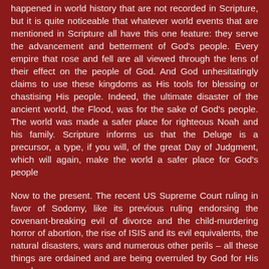happened in world history that are not recorded in Scripture, but it is quite noticeable that whatever world events that are mentioned in Scripture all have this one feature: they serve the advancement and betterment of God's people. Every empire that rose and fell are all viewed through the lens of their effect on the people of God. And God unhesitatingly claims to use these kingdoms as His tools for blessing or chastising His people. Indeed, the ultimate disaster of the ancient world, the Flood, was for the sake of God's people. The world was made a safer place for righteous Noah and his family. Scripture informs us that the Deluge is a precursor, a type, if you will, of the great Day of Judgment, which will again, make the world a safer place for God's people
Now to the present. The recent US Supreme Court ruling in favor of Sodomy, like its previous ruling endorsing the covenant-breaking evil of divorce and the child-murdering horror of abortion, the rise of ISIS and its evil equivalents, the natural disasters, wars and numerous other perils – all these things are ordained and are being overruled by God for His people.